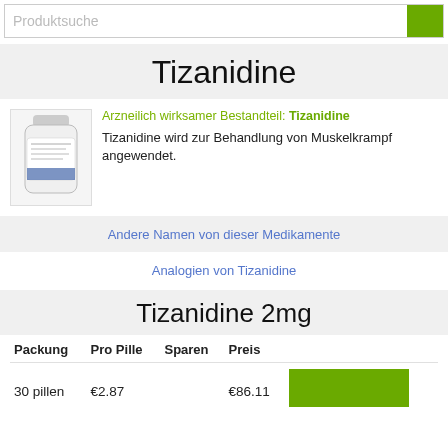Produktsuche
Tizanidine
[Figure (photo): White medicine bottle with label for Tizanidine]
Arzneilich wirksamer Bestandteil: Tizanidine
Tizanidine wird zur Behandlung von Muskelkrampf angewendet.
Andere Namen von dieser Medikamente
Analogien von Tizanidine
Tizanidine 2mg
| Packung | Pro Pille | Sparen | Preis |
| --- | --- | --- | --- |
| 30 pillen | €2.87 |  | €86.11 |